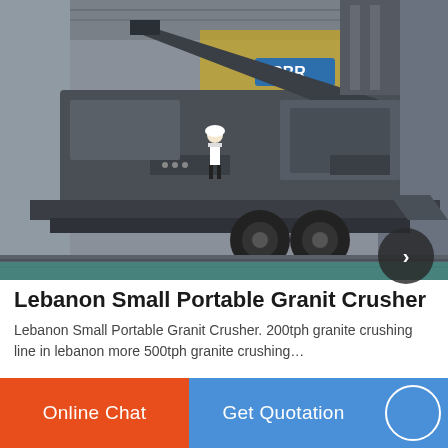[Figure (photo): Mobile/portable granite crusher machine on a flatbed trailer inside an industrial factory. A worker in a white hard hat stands on the equipment. Large grey heavy machinery with conveyor belt and crusher unit visible. SBM branding visible in background.]
Lebanon Small Portable Granit Crusher
Lebanon Small Portable Granit Crusher. 200tph granite crushing line in lebanon more 500tph granite crushing…
Online Chat
Get Quotation